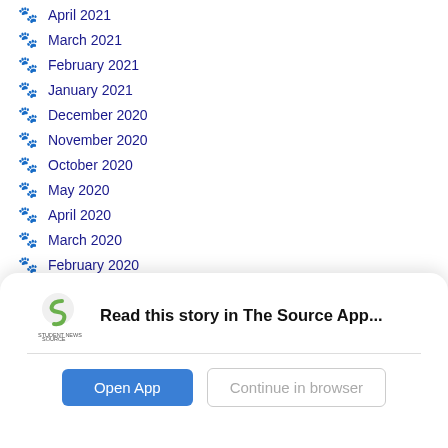April 2021
March 2021
February 2021
January 2021
December 2020
November 2020
October 2020
May 2020
April 2020
March 2020
February 2020
January 2020
December 2019
Read this story in The Source App...
Open App
Continue in browser